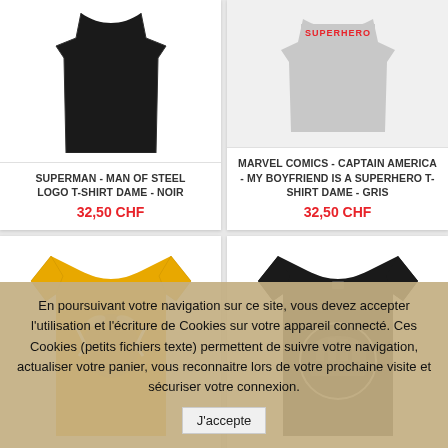[Figure (photo): Black sleeveless top/tank dress on white background]
SUPERMAN - MAN OF STEEL LOGO T-SHIRT DAME - NOIR
32,50 CHF
[Figure (photo): Grey t-shirt with SUPERHERO text on white/grey background]
MARVEL COMICS - CAPTAIN AMERICA - MY BOYFRIEND IS A SUPERHERO T-SHIRT DAME - GRIS
32,50 CHF
[Figure (photo): Yellow t-shirt with Asterix character with lightning bolts graphic]
[Figure (photo): Black t-shirt with Star Wars characters circle graphic]
En poursuivant votre navigation sur ce site, vous devez accepter l'utilisation et l'écriture de Cookies sur votre appareil connecté. Ces Cookies (petits fichiers texte) permettent de suivre votre navigation, actualiser votre panier, vous reconnaitre lors de votre prochaine visite et sécuriser votre connexion.